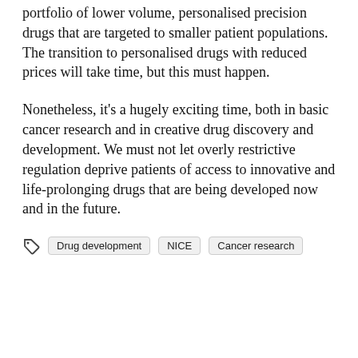portfolio of lower volume, personalised precision drugs that are targeted to smaller patient populations. The transition to personalised drugs with reduced prices will take time, but this must happen.
Nonetheless, it's a hugely exciting time, both in basic cancer research and in creative drug discovery and development. We must not let overly restrictive regulation deprive patients of access to innovative and life-prolonging drugs that are being developed now and in the future.
Tags: Drug development, NICE, Cancer research